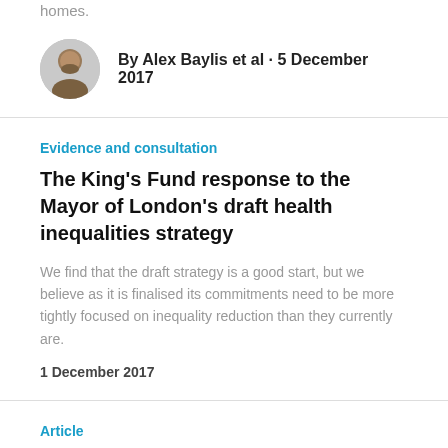homes.
By Alex Baylis et al · 5 December 2017
Evidence and consultation
The King's Fund response to the Mayor of London's draft health inequalities strategy
We find that the draft strategy is a good start, but we believe as it is finalised its commitments need to be more tightly focused on inequality reduction than they currently are.
1 December 2017
Article
Talking leadership: transforming mental health services